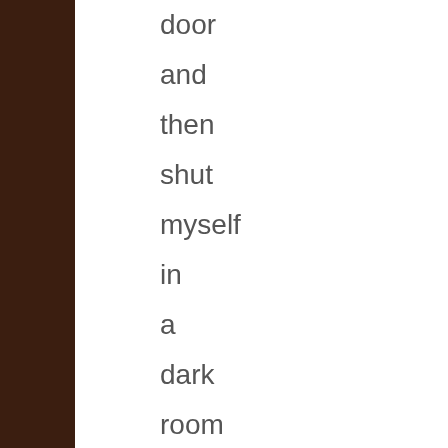door and then shut myself in a dark room with a large glass of wine. I'd be more than happy to go spend